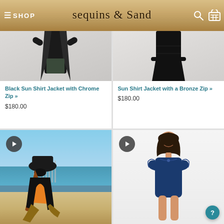≡ SHOP  sequins & sand
[Figure (photo): Black sun shirt jacket product photo, model wearing dark jacket with chrome zip, partial torso view]
Black Sun Shirt Jacket with Chrome Zip »
$180.00
[Figure (photo): Sun shirt jacket product photo, model wearing black jacket with bronze zip, partial torso view]
Sun Shirt Jacket with a Bronze Zip »
$180.00
[Figure (photo): Video thumbnail of woman on beach wearing black sun shirt and hat, with play button overlay]
[Figure (photo): Video thumbnail of woman in navy blue one-piece swimsuit with ruffle cap sleeves, with play button overlay]